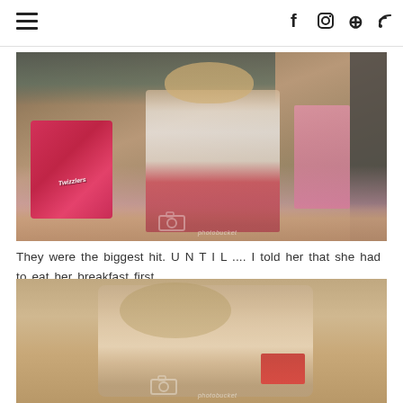Navigation menu icon and social icons: Facebook, Instagram, Pinterest, RSS
[Figure (photo): A young blonde toddler girl sitting on the floor in Christmas pajamas holding a pink box of Twizzlers candy, with a Photobucket watermark overlay]
They were the biggest hit. U N T I L .... I told her that she had to eat her breakfast first...
[Figure (photo): A young blonde toddler girl lying on a hardwood floor looking at the camera, with a Photobucket watermark overlay]